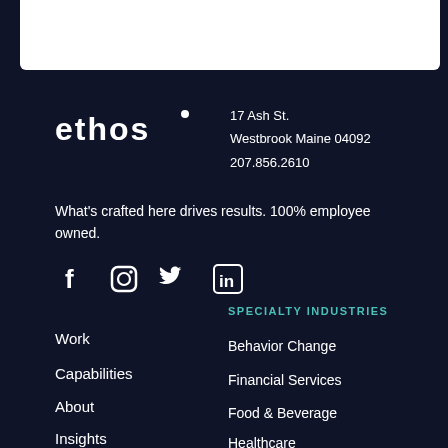[Figure (logo): Ethos company logo in white text on dark navy background]
17 Ash St.
Westbrook Maine 04092
207.856.2610
What's crafted here drives results. 100% employee owned.
[Figure (illustration): Social media icons: Facebook, Instagram, Twitter, LinkedIn]
Work
Capabilities
About
Insights
SPECIALTY INDUSTRIES
Behavior Change
Financial Services
Food & Beverage
Healthcare